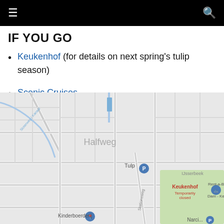☰  🔍
IF YOU GO
Keukenhof (for details on next spring's tulip season)
Scenic Cruises
[Figure (map): Google map showing the Halfweg area near Keukenhof, the Netherlands, with locations including Tulp, Keukenhof (Temporarily closed), Rent-a-Bike Dam - Ke..., Kinderboerderij, and Narci...]